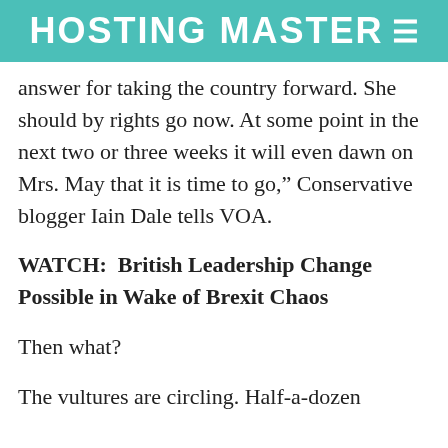HOSTING MASTER≡
answer for taking the country forward. She should by rights go now. At some point in the next two or three weeks it will even dawn on Mrs. May that it is time to go,” Conservative blogger Iain Dale tells VOA.
WATCH:  British Leadership Change Possible in Wake of Brexit Chaos
Then what?
The vultures are circling. Half-a-dozen